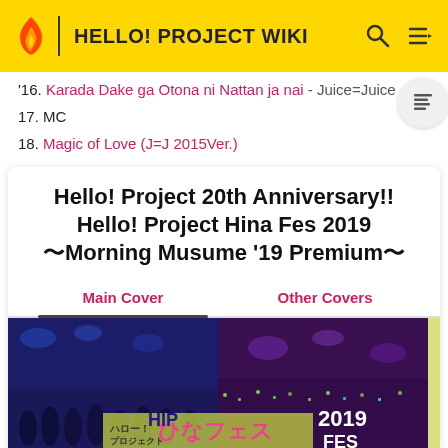HELLO! PROJECT WIKI
16. Karada Dake ga Otona ni Nattan ja nai - Juice=Juice
17. MC
18. Magic of Love (J=J 2015Ver.)
Hello! Project 20th Anniversary!! Hello! Project Hina Fes 2019 〜Morning Musume '19 Premium〜
Main Cover
Other Covers
[Figure (photo): Concert photo showing performers on stage with purple/blue stage lighting and text overlay reading ハロー！プロジェクト HIP ひなフェス 2019 FES]